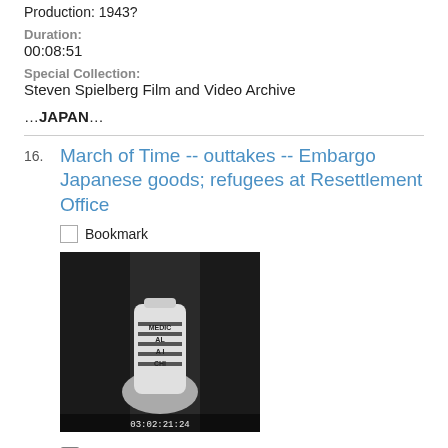Production: 1943?
Duration:
00:08:51
Special Collection:
Steven Spielberg Film and Video Archive
….JAPAN….
March of Time -- outtakes -- Embargo Japanese goods; refugees at Resettlement Office
Bookmark
[Figure (photo): Black and white still image of a person holding a cylindrical canister labeled 'MEDICAL AID CHINA'. Timecode 03:02:21:24 is shown at the bottom.]
Film | Accession Number: 1997.134.1 | RG Number: RG.60.1015 | Film ID: 40